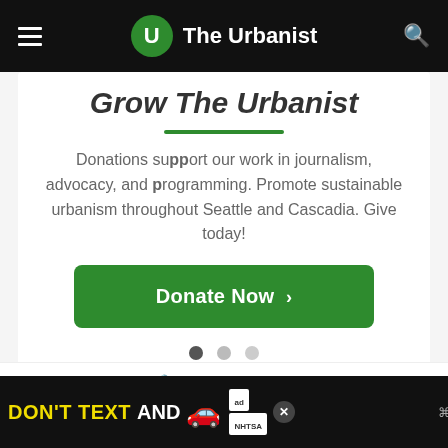The Urbanist
Grow The Urbanist
Donations support our work in journalism, advocacy, and programming. Promote sustainable urbanism throughout Seattle and Cascadia. Give today!
Donate Now >
Secure Donation
[Figure (infographic): Advertisement banner: DON'T TEXT AND [car emoji] with ad logo and NHTSA branding]